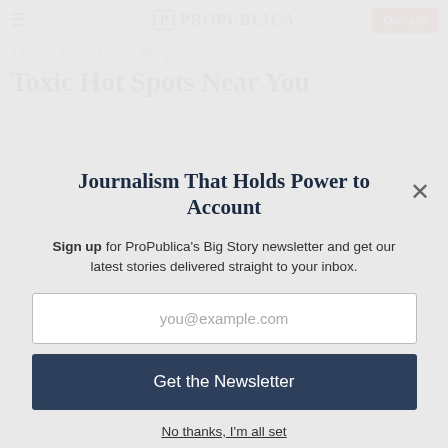≡ ProPublica | Donate
How You Can Report on the Toxic Hot Spots Near You
Journalism That Holds Power to Account
Sign up for ProPublica's Big Story newsletter and get our latest stories delivered straight to your inbox.
you@example.com
Get the Newsletter
No thanks, I'm all set
This site is protected by reCAPTCHA and the Google Privacy Policy and Terms of Service apply.